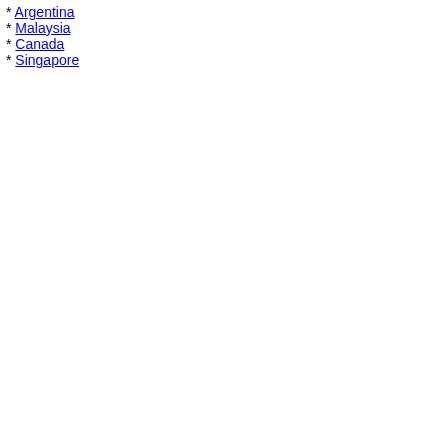* Argentina
* Malaysia
* Canada
* Singapore
Oportunidad De B...
... More Sales Ads
Por inicio de campaña es... posibilidades reales de de... garantizamos las mejores...
Location: Houston, Unite...
Posted: 2022-01-19
Oportunidad De B...
... More Sales Ads
Nuestro Departamento de... fuerza de ventas. La pers... seguimiento comercial, pr...
Location: Houston, Unite...
Posted: 2022-01-19
Sales Manager
... More Sales Ads - sales...
MASA Assist is hiring a Sa... pay the high cost incurre...